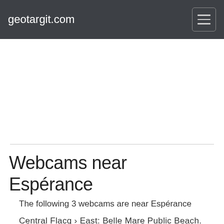geotargit.com
Webcams near Espérance
The following 3 webcams are near Espérance
Central Flacq › East: Belle Mare Public Beach.